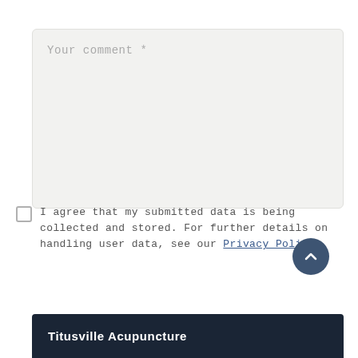Your comment *
I agree that my submitted data is being collected and stored. For further details on handling user data, see our Privacy Policy
Leave a comment
Titusville Acupuncture